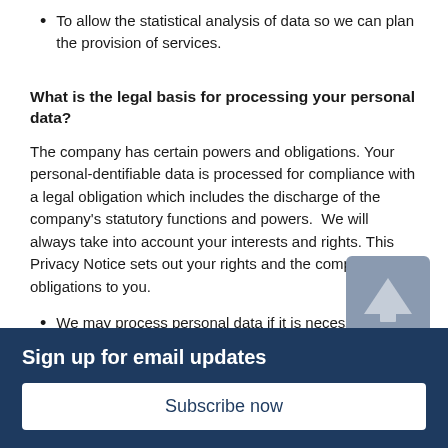To allow the statistical analysis of data so we can plan the provision of services.
What is the legal basis for processing your personal data?
The company has certain powers and obligations. Your personal-dentifiable data is processed for compliance with a legal obligation which includes the discharge of the company's statutory functions and powers.  We will always take into account your interests and rights. This Privacy Notice sets out your rights and the company's obligations to you.
We may process personal data if it is necessary for the performance of a contract with you, or to take
Sign up for email updates
Subscribe now